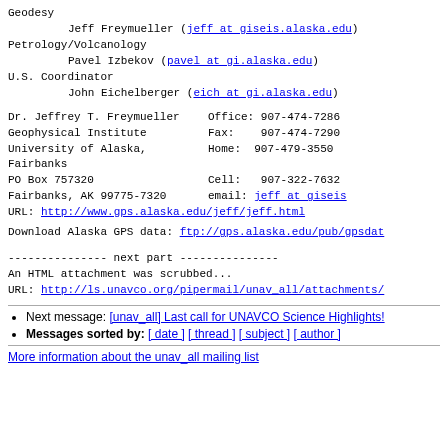Geodesy
        Jeff Freymueller (jeff at giseis.alaska.edu)
Petrology/Volcanology
        Pavel Izbekov (pavel at gi.alaska.edu)
U.S. Coordinator
        John Eichelberger (eich at gi.alaska.edu)
Dr. Jeffrey T. Freymueller    Office: 907-474-7286
Geophysical Institute          Fax:    907-474-7290
University of Alaska, Fairbanks  Home: 907-479-3550
PO Box 757320                  Cell:   907-322-7632
Fairbanks, AK 99775-7320       email: jeff at giseis
URL: http://www.gps.alaska.edu/jeff/jeff.html
Download Alaska GPS data: ftp://gps.alaska.edu/pub/gpsdat
--------------- next part ---------------
An HTML attachment was scrubbed...
URL: http://ls.unavco.org/pipermail/unav_all/attachments/
Next message: [unav_all] Last call for UNAVCO Science Highlights!
Messages sorted by: [ date ] [ thread ] [ subject ] [ author ]
More information about the unav_all mailing list